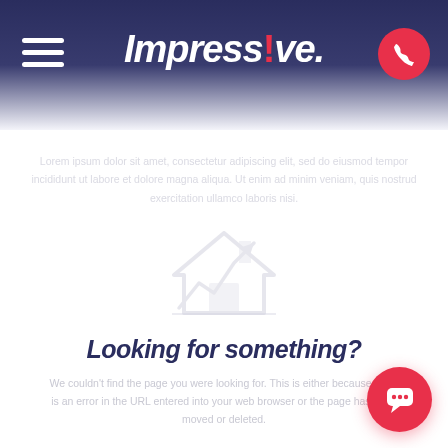Impressive. [navigation header with hamburger menu and phone button]
[Figure (illustration): 404 page not found illustration with a faint house/home icon in light gray]
Looking for something?
Faint body text content (blurred/faded, not fully legible)
[Figure (illustration): Red circular chat/message bubble button in bottom right corner]